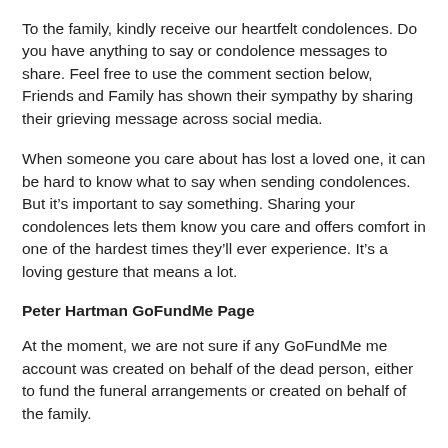To the family, kindly receive our heartfelt condolences. Do you have anything to say or condolence messages to share. Feel free to use the comment section below, Friends and Family has shown their sympathy by sharing their grieving message across social media.
When someone you care about has lost a loved one, it can be hard to know what to say when sending condolences. But it’s important to say something. Sharing your condolences lets them know you care and offers comfort in one of the hardest times they’ll ever experience. It’s a loving gesture that means a lot.
Peter Hartman GoFundMe Page
At the moment, we are not sure if any GoFundMe me account was created on behalf of the dead person, either to fund the funeral arrangements or created on behalf of the family.
INTERESTING FOR YOU